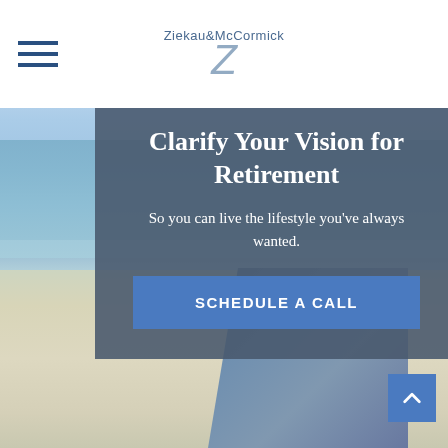[Figure (screenshot): Website screenshot of Ziekau & McCormick financial advisory firm. White navigation bar at top with hamburger menu icon on left and Ziekau & McCormick logo (stylized Z) in center. Below nav is a beach/ocean background photo showing sky, water, and sandy beach with a dock visible lower right. Overlaid on the beach image is a semi-transparent dark blue-grey card with white text reading 'Clarify Your Vision for Retirement' as title, 'So you can live the lifestyle you've always wanted.' as subtitle, and a blue 'SCHEDULE A CALL' call-to-action button. A blue back-to-top arrow button appears in the lower right corner.]
Ziekau & McCormick
Clarify Your Vision for Retirement
So you can live the lifestyle you've always wanted.
SCHEDULE A CALL